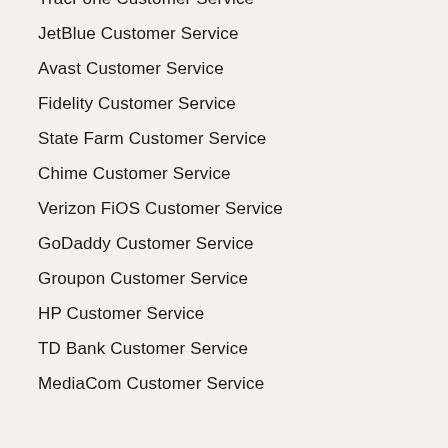TracFone Customer Service
JetBlue Customer Service
Avast Customer Service
Fidelity Customer Service
State Farm Customer Service
Chime Customer Service
Verizon FiOS Customer Service
GoDaddy Customer Service
Groupon Customer Service
HP Customer Service
TD Bank Customer Service
MediaCom Customer Service